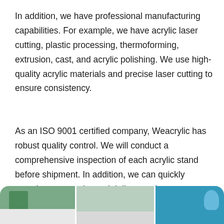In addition, we have professional manufacturing capabilities. For example, we have acrylic laser cutting, plastic processing, thermoforming, extrusion, cast, and acrylic polishing. We use high-quality acrylic materials and precise laser cutting to ensure consistency.
As an ISO 9001 certified company, Weacrylic has robust quality control. We will conduct a comprehensive inspection of each acrylic stand before shipment. In addition, we can quickly complete your order and deliver on time.
[Figure (photo): Partial view of a facility or showroom photo strip at bottom of page, showing three panel images: left panel with green plant and shelving, middle panel with interior space, right panel with blue-tinted architectural or product display area.]